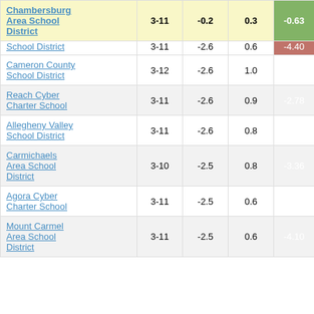| School | Grades | Col3 | Col4 | Score |
| --- | --- | --- | --- | --- |
| Chambersburg Area School District | 3-11 | -0.2 | 0.3 | -0.63 |
| School District | 3-11 | -2.6 | 0.6 | -4.40 |
| Cameron County School District | 3-12 | -2.6 | 1.0 | -2.51 |
| Reach Cyber Charter School | 3-11 | -2.6 | 0.9 | -2.78 |
| Allegheny Valley School District | 3-11 | -2.6 | 0.8 | -3.15 |
| Carmichaels Area School District | 3-10 | -2.5 | 0.8 | -3.36 |
| Agora Cyber Charter School | 3-11 | -2.5 | 0.6 | -4.31 |
| Mount Carmel Area School District | 3-11 | -2.5 | 0.6 | -4.10 |